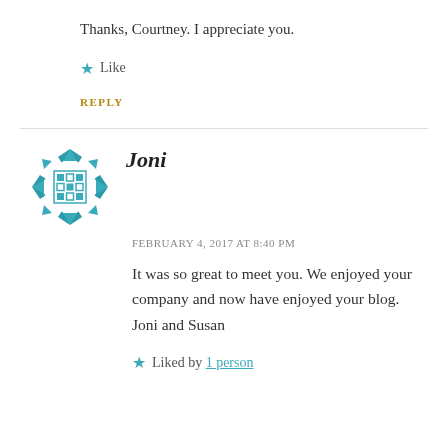Thanks, Courtney. I appreciate you.
Like
REPLY
Joni
FEBRUARY 4, 2017 AT 8:40 PM
It was so great to meet you. We enjoyed your company and now have enjoyed your blog. Joni and Susan
Liked by 1 person